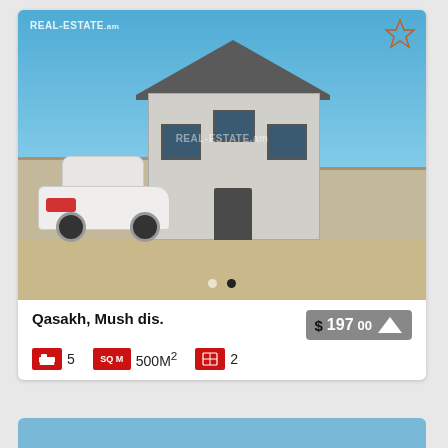[Figure (photo): Exterior photo of a two-story grey stucco house with dark window frames, a white car parked in the driveway, stone walls on either side, and a paved courtyard. Watermark: REAL-ESTATE.am]
Qasakh, Mush dis.
$ 197 00
5
SQ M 500M²
2